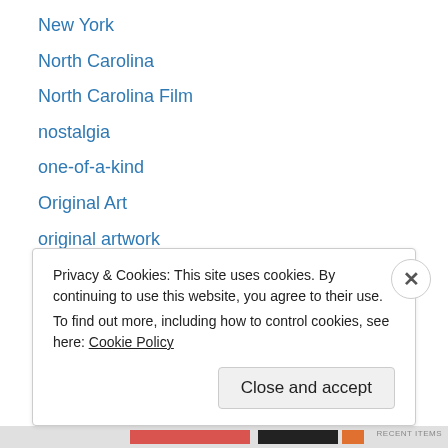New York
North Carolina
North Carolina Film
nostalgia
one-of-a-kind
Original Art
original artwork
paint brushes
Painted Furniture
Painting
Painting Contractors
pet groomers
Pet Portraits
Privacy & Cookies: This site uses cookies. By continuing to use this website, you agree to their use. To find out more, including how to control cookies, see here: Cookie Policy